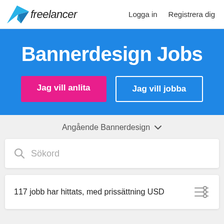[Figure (logo): Freelancer logo with blue origami bird icon and italic 'freelancer' text]
Logga in   Registrera dig
Bannerdesign Jobs
Jag vill anlita
Jag vill jobba
Angående Bannerdesign ∨
Sökord
117 jobb har hittats, med prissättning USD